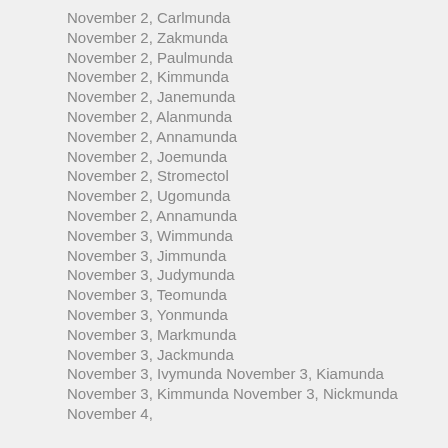November 2, Carlmunda
November 2, Zakmunda
November 2, Paulmunda
November 2, Kimmunda
November 2, Janemunda
November 2, Alanmunda
November 2, Annamunda
November 2, Joemunda
November 2, Stromectol
November 2, Ugomunda
November 2, Annamunda
November 3, Wimmunda
November 3, Jimmunda
November 3, Judymunda
November 3, Teomunda
November 3, Yonmunda
November 3, Markmunda
November 3, Jackmunda
November 3, Ivymunda November 3, Kiamunda November 3, Kimmunda November 3, Nickmunda November 4,